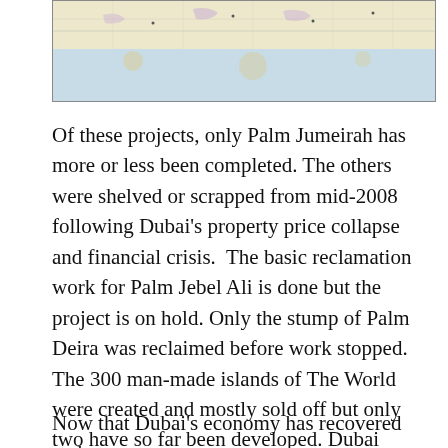[Figure (map): Partial map of Dubai coastline showing reclamation projects including Palm islands and surrounding areas]
Of these projects, only Palm Jumeirah has more or less been completed. The others were shelved or scrapped from mid-2008 following Dubai's property price collapse and financial crisis.  The basic reclamation work for Palm Jebel Ali is done but the project is on hold. Only the stump of Palm Deira was reclaimed before work stopped. The 300 man-made islands of The World were created and mostly sold off but only two have so far been developed. Dubai Waterfront and Arabian Canal are on hold.
Now that Dubai's economy has recovered and